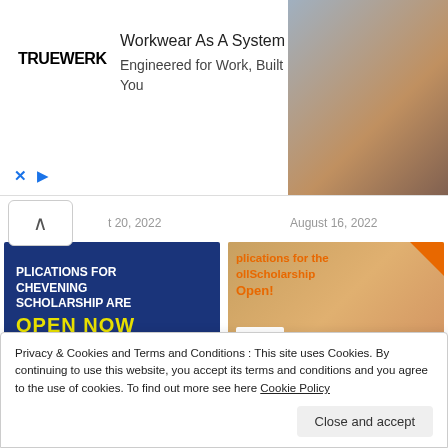[Figure (screenshot): Truewerk advertisement banner: 'Workwear As A System - Engineered for Work, Built For You' with photo of worker and brand logo]
t 20, 2022
August 16, 2022
[Figure (photo): Chevening UK Government Scholarship promo image: blue background with text 'PLICATIONS FOR CHEVENING SCHOLARSHIP ARE OPEN NOW' and chevening.org URL]
Chevening UK Government Scholarships Programme
[Figure (photo): Skoll Scholarship promotional image with orange text 'plications for the ollScholarship Open!' with Saïd Business School logo and Oxford building]
Skoll Scholarship at University of Oxford's Saïd Business School 2023 (Deadline...
Privacy & Cookies and Terms and Conditions : This site uses Cookies. By continuing to use this website, you accept its terms and conditions and you agree to the use of cookies. To find out more see here Cookie Policy
Close and accept